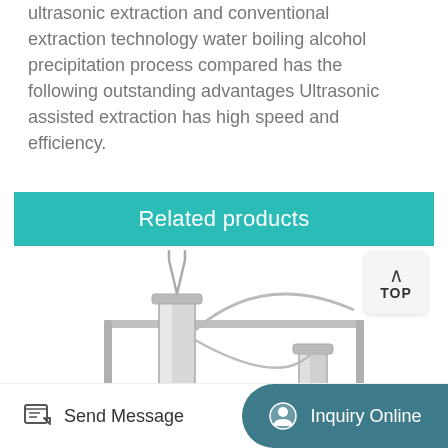ultrasonic extraction and conventional extraction technology water boiling alcohol precipitation process compared has the following outstanding advantages Ultrasonic assisted extraction has high speed and efficiency.
Related products
[Figure (photo): Laboratory ultrasonic extraction equipment: stainless steel column reactors mounted on a metal frame with connecting tubing and valves.]
Send Message
Inquiry Online